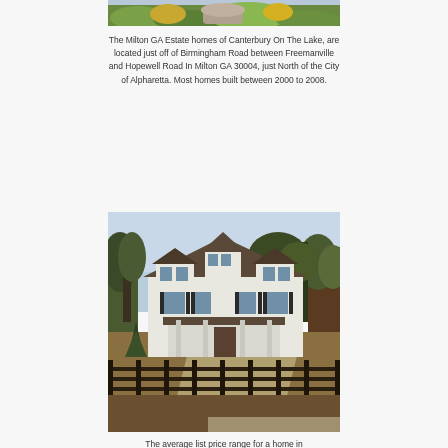[Figure (photo): Top portion of an outdoor landscape photo showing greenery, bushes, and a stone structure at Canterbury On The Lake]
The Milton GA Estate homes of Canterbury On The Lake, are located just off of Birmingham Road between Freemanville and Hopewell Road In Milton GA 30004, just North of the City of Alpharetta. Most homes built between 2000 to 2008.
[Figure (photo): A large white colonial-style estate home with dark shutters, a covered porch, dormer windows, surrounded by trees and a dark wooden split-rail fence along the front. A driveway curves in the foreground.]
The average list price range for a home in